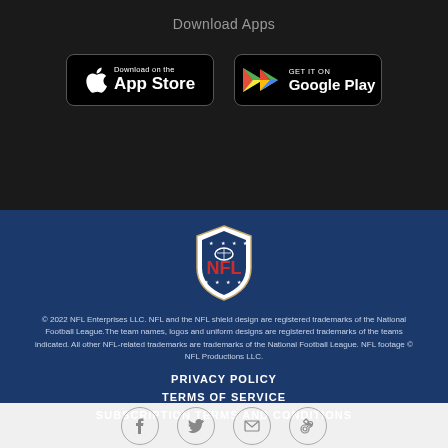Download Apps
[Figure (logo): Download on the App Store button]
[Figure (logo): Get it on Google Play button]
[Figure (logo): NFL shield logo]
© 2022 NFL Enterprises LLC. NFL and the NFL shield design are registered trademarks of the National Football League.The team names, logos and uniform designs are registered trademarks of the teams indicated. All other NFL-related trademarks are trademarks of the National Football League. NFL footage © NFL Productions LLC.
PRIVACY POLICY
TERMS OF SERVICE
SUBSCRIPTION TERMS AND CONDITIONS
[Figure (infographic): Social media icons: Facebook, Twitter, Email, Link]